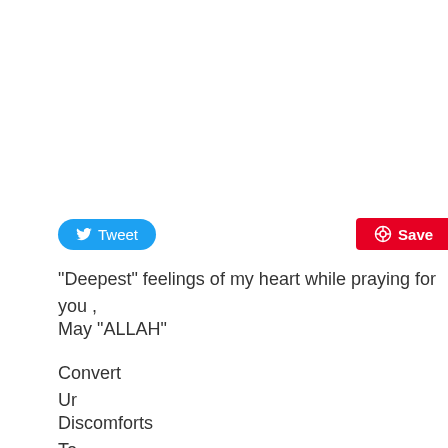[Figure (screenshot): Tweet button (blue rounded) and Save button (red) social sharing buttons]
"Deepest" feelings of my heart while praying for you ,
May "ALLAH"
Convert
Ur
Discomforts
To